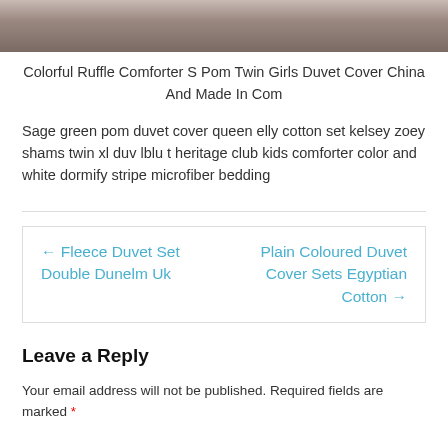[Figure (photo): Partial photo showing fabric or textile, cropped at top of page]
Colorful Ruffle Comforter S Pom Twin Girls Duvet Cover China And Made In Com
Sage green pom duvet cover queen elly cotton set kelsey zoey shams twin xl duv lblu t heritage club kids comforter color and white dormify stripe microfiber bedding
← Fleece Duvet Set Double Dunelm Uk
Plain Coloured Duvet Cover Sets Egyptian Cotton →
Leave a Reply
Your email address will not be published. Required fields are marked *